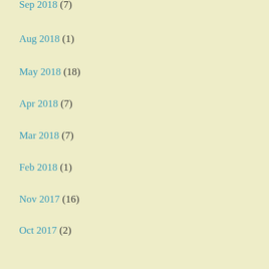Sep 2018 (7)
Aug 2018 (1)
May 2018 (18)
Apr 2018 (7)
Mar 2018 (7)
Feb 2018 (1)
Nov 2017 (16)
Oct 2017 (2)
Jun 2017 (22)
May 2017 (32)
Apr 2017 (6)
Categories
2017 Around Australia (61)